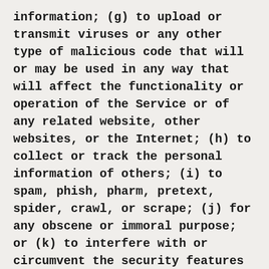information; (g) to upload or transmit viruses or any other type of malicious code that will or may be used in any way that will affect the functionality or operation of the Service or of any related website, other websites, or the Internet; (h) to collect or track the personal information of others; (i) to spam, phish, pharm, pretext, spider, crawl, or scrape; (j) for any obscene or immoral purpose; or (k) to interfere with or circumvent the security features of the Service or any related website, other websites, or the Internet. We reserve the right to terminate your use of the Service or